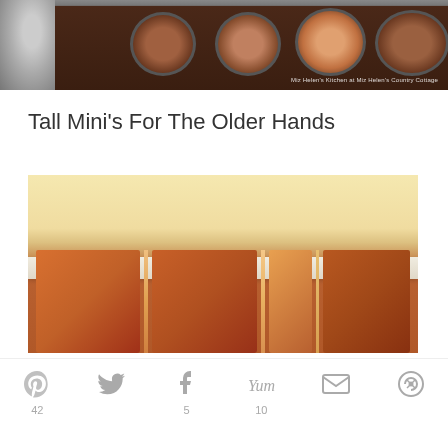[Figure (photo): Top photo showing a muffin tin with chocolate-filled cups and a mixing bowl on the left, watermark reads 'Miz Helen's Kitchen at Miz Helen's Country Cottage']
Tall Mini's For The Older Hands
[Figure (photo): Photo of tall mini cups/mugs in warm reddish-orange tones on a shelf or counter]
42  5  10 (social share counts for Pinterest, Twitter, Facebook, Yum, Email, Other)